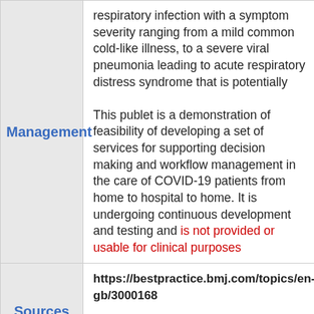| Category | Content |
| --- | --- |
| Management | respiratory infection with a symptom severity ranging from a mild common cold-like illness, to a severe viral pneumonia leading to acute respiratory distress syndrome that is potentially

This publet is a demonstration of feasibility of developing a set of services for supporting decision making and workflow management in the care of COVID-19 patients from home to hospital to home. It is undergoing continuous development and testing and is not provided or usable for clinical purposes. |
| Sources | https://bestpractice.bmj.com/topics/en-gb/3000168

Last reviewed March 2020 |